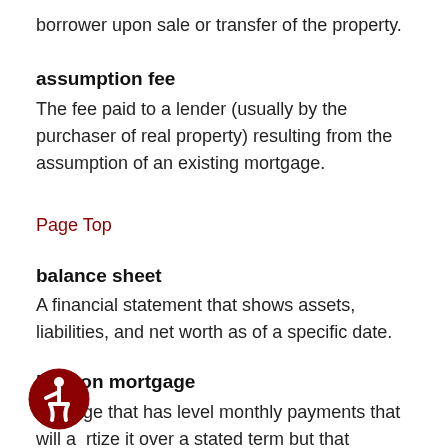borrower upon sale or transfer of the property.
assumption fee
The fee paid to a lender (usually by the purchaser of real property) resulting from the assumption of an existing mortgage.
Page Top
balance sheet
A financial statement that shows assets, liabilities, and net worth as of a specific date.
balloon mortgage
A mortgage that has level monthly payments that will amortize it over a stated term but that provides for a lump